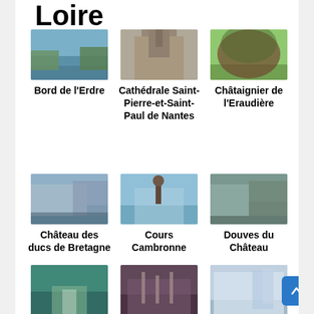Loire
[Figure (photo): Bord de l'Erdre - river scene with trees]
Bord de l'Erdre
[Figure (photo): Cathédrale Saint-Pierre-et-Saint-Paul de Nantes - gothic cathedral facade]
Cathédrale Saint-Pierre-et-Saint-Paul de Nantes
[Figure (photo): Châtaignier de l'Eraudière - large chestnut tree]
Châtaignier de l'Eraudière
[Figure (photo): Château des ducs de Bretagne - castle view]
Château des ducs de Bretagne
[Figure (photo): Cours Cambronne - square with statue]
Cours Cambronne
[Figure (photo): Douves du Château - castle moat]
Douves du Château
[Figure (photo): Erdre et - river with boat]
Erdre et
[Figure (photo): Frac des - building at dusk]
Frac des
[Figure (photo): Gare de - train station interior]
Gare de